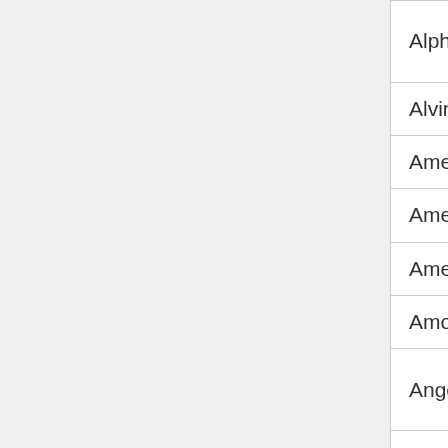| Series | Game |
| --- | --- |
| Alpha and Omega | Alpha and Omega Bark Sled Ride |
| Alvin and the Chipmunks | Alvin's Harmonica... |
| American Dad! | Quiz American Da... |
| American Dragon | Jake's Fire Power... |
| American Girl | Felicity Picture Pu... |
| Among Us | Among Us Christm... Coloring |
| Angel's Friends | Angel's Friends R... Sulfus Puzzle |
| Angela Anaconda | The Karate Adve... of Orange Belt An... |
| Angry Birds | Angry Birds Rio |
| Animal Crossing | Animal Crossing ... Maker |
| Animaniacs | Animaniacs: Wak... |